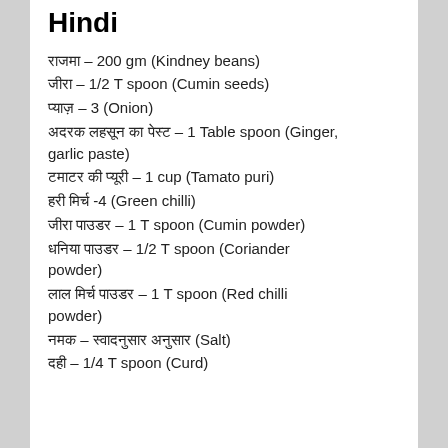Hindi
राजमा – 200 gm (Kindney beans)
जीरा – 1/2 T spoon (Cumin seeds)
प्याज़ – 3 (Onion)
अदरक लहसून का पेस्ट – 1 Table spoon (Ginger, garlic paste)
टमाटर की प्यूरी – 1 cup (Tamato puri)
हरी मिर्च -4 (Green chilli)
जीरा पाउडर – 1 T spoon (Cumin powder)
धनिया पाउडर – 1/2 T spoon (Coriander powder)
लाल मिर्च पाउडर – 1 T spoon (Red chilli powder)
नमक – स्वादनुसार अनुसार (Salt)
दही – 1/4 T spoon (Curd)